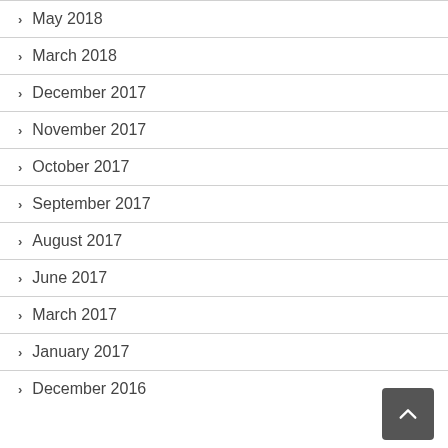May 2018
March 2018
December 2017
November 2017
October 2017
September 2017
August 2017
June 2017
March 2017
January 2017
December 2016